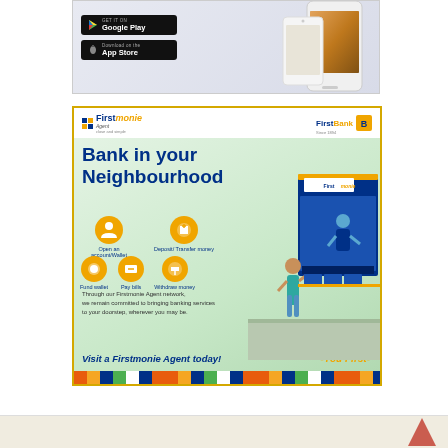[Figure (illustration): Mobile app advertisement showing Google Play and App Store download buttons alongside a smartphone image on a light gray background]
[Figure (illustration): Firstmonie Agent bank advertisement. Dark blue and gold bordered white background. Shows Firstmonie Agent and FirstBank logos at top. Headline: Bank in your Neighbourhood. Icons for: Open an account/Wallet, Deposit/Transfer money, Fund wallet, Pay bills, Withdraw money. Body text: Through our Firstmonie Agent network, we remain committed to bringing banking services to your doorstep, wherever you may be. CTA: Visit a Firstmonie Agent today! Tagline: -You First- Right side shows illustrated kiosk and person. Bottom has colorful repeating strip.]
[Figure (illustration): Partial view of another advertisement at the bottom of the page with a light beige/cream background]